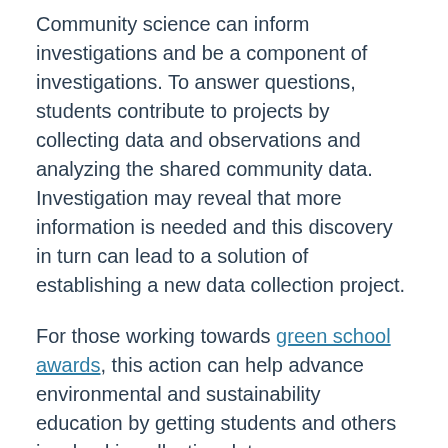Community science can inform investigations and be a component of investigations. To answer questions, students contribute to projects by collecting data and observations and analyzing the shared community data. Investigation may reveal that more information is needed and this discovery in turn can lead to a solution of establishing a new data collection project.
For those working towards green school awards, this action can help advance environmental and sustainability education by getting students and others involved in collecting data.
Facilitating Student Action
Students should continue to have opportunities